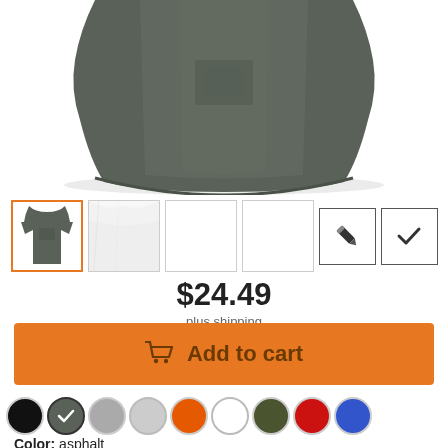[Figure (photo): Dark gray/asphalt colored t-shirt torso view, partially cropped at the top]
[Figure (photo): Thumbnail row: selected t-shirt thumbnail with orange border, white fabric thumbnail, two empty white boxes, pencil edit icon box, checkmark icon box]
$24.49
plus shipping
Add to cart
[Figure (infographic): Color swatch row: black, asphalt (selected with checkmark), gray, light gray, orange, white, olive, red, blue]
Color: asphalt